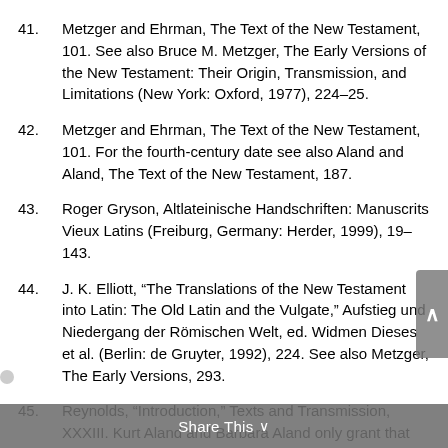41. Metzger and Ehrman, The Text of the New Testament, 101. See also Bruce M. Metzger, The Early Versions of the New Testament: Their Origin, Transmission, and Limitations (New York: Oxford, 1977), 224–25.
42. Metzger and Ehrman, The Text of the New Testament, 101. For the fourth-century date see also Aland and Aland, The Text of the New Testament, 187.
43. Roger Gryson, Altlateinische Handschriften: Manuscrits Vieux Latins (Freiburg, Germany: Herder, 1999), 19–143.
44. J. K. Elliott, “The Translations of the New Testament into Latin: The Old Latin and the Vulgate,” Aufstieg und Niedergang der Römischen Welt, ed. Widmen Dieses et al. (Berlin: de Gruyter, 1992), 224. See also Metzger, The Early Versions, 293.
45. Reynolds, “Introduction,” Texts and Transmission, XXXIII. Kurt Aland and Barbara Aland only grant that the number “must be well over 8,000.”Aland and Aland, The Text of the New Testament, 192.